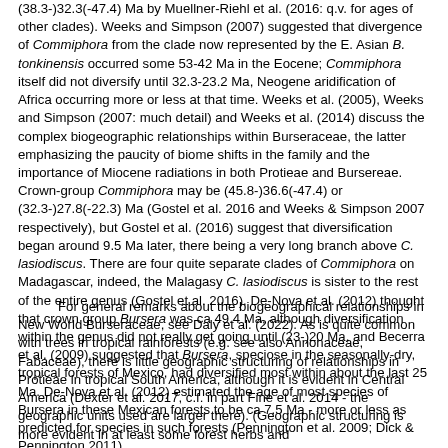(38.3-)32.3(-47.4) Ma by Muellner-Riehl et al. (2016: q.v. for ages of other clades). Weeks and Simpson (2007) suggested that divergence of Commiphora from the clade now represented by the E. Asian B. tonkinensis occurred some 53-42 Ma in the Eocene; Commiphora itself did not diversify until 32.3-23.2 Ma, Neogene aridification of Africa occurring more or less at that time. Weeks et al. (2005), Weeks and Simpson (2007: much detail) and Weeks et al. (2014) discuss the complex biogeographic relationships within Burseraceae, the latter emphasizing the paucity of biome shifts in the family and the importance of Miocene radiations in both Protieae and Bursereae. Crown-group Commiphora may be (45.8-)36.6(-47.4) or (32.3-)27.8(-22.3) Ma (Gostel et al. 2016 and Weeks & Simpson 2007 respectively), but Gostel et al. (2016) suggest that diversification began around 9.5 Ma later, there being a very long branch above C. lasiodiscus. There are four quite separate clades of Commiphora on Madagascar, indeed, the Malagasy C. lasiodiscus is sister to the rest of the entire genus (Gostel et al. 2016). De-Nova et al. (2012) thought that crown group Bursera was ca 49.4 Ma, although diversification within the genus did not really get going until (23-)20 Ma, and Becerra et al. (2009) suggested that Bursera, speciose in the seasonally-dry, tropical forests of Mexico, had diversified most within about the last 25 Ma. De-Nova et al. (2012) estimated the age of most species of Bursera in these Mexican forests to be ca 7.5 Ma - more or less as predicted for species in such forests (Pennington et al. 2009; Dick & Pennington 2011).
For general remarks about the biogeographical relationships in New World Burseraceae, see Daly et al. (2022). As is quite common with trees in tropical rainforests (e.g. see also Annonaceae, Fabaceae), there is little geographic structuring of relationships in Protieae in tropical South America, although it is evident in Central America (Dexter et al. 2017, c.f. in part Fine et al. 2014 - the geographic units used are larger there). (Geographic structuring is more evident in at least some forest herbs and